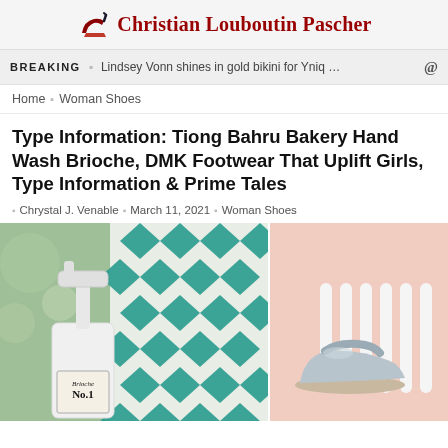Christian Louboutin Pascher
BREAKING  Lindsey Vonn shines in gold bikini for Yniq …
Home  Woman Shoes
Type Information: Tiong Bahru Bakery Hand Wash Brioche, DMK Footwear That Uplift Girls, Type Information & Prime Tales
Chrystal J. Venable  March 11, 2021  Woman Shoes
[Figure (photo): Left: white soap/lotion pump dispenser labeled 'Brioche No.1' in front of teal and white diamond-pattern tile wall. Right: silver/grey flat sandal shoe on a pink background with white curved shelf behind it.]